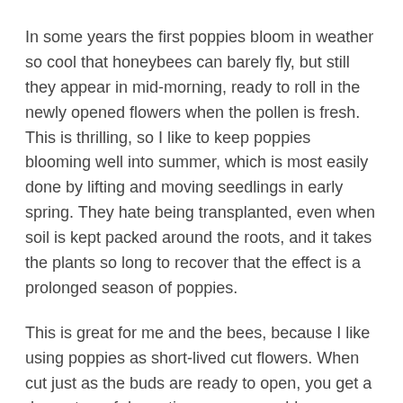In some years the first poppies bloom in weather so cool that honeybees can barely fly, but still they appear in mid-morning, ready to roll in the newly opened flowers when the pollen is fresh. This is thrilling, so I like to keep poppies blooming well into summer, which is most easily done by lifting and moving seedlings in early spring. They hate being transplanted, even when soil is kept packed around the roots, and it takes the plants so long to recover that the effect is a prolonged season of poppies.
This is great for me and the bees, because I like using poppies as short-lived cut flowers. When cut just as the buds are ready to open, you get a day or two of dramatic, crepe-paper blossoms, and then the petals fall to reveal poppies' lantern-shaped seed pods. No wonder Van Gogh and Monet loved painting poppies.
Barbara Pleasant